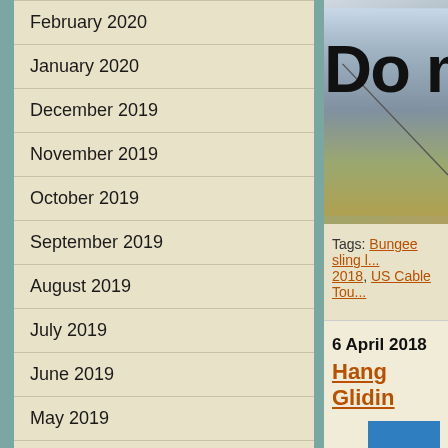February 2020
January 2020
December 2019
November 2019
October 2019
September 2019
August 2019
July 2019
June 2019
May 2019
April 2019
March 2019
January 2019
December 2018
November 2018
[Figure (photo): Aerial landscape photo with text 'Do m' visible, showing misty terrain from above]
Tags: Bungee sling [...], 2018, US Cable Tour[...]
6 April 2018
Hang Gliding[...]